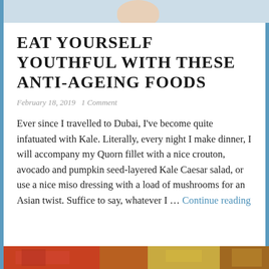[Figure (photo): Top strip showing partial image of a person's face/head, light blue and skin tones]
EAT YOURSELF YOUTHFUL WITH THESE ANTI-AGEING FOODS
February 18, 2019   1 Comment
Ever since I travelled to Dubai, I've become quite infatuated with Kale. Literally, every night I make dinner, I will accompany my Quorn fillet with a nice crouton, avocado and pumpkin seed-layered Kale Caesar salad, or use a nice miso dressing with a load of mushrooms for an Asian twist. Suffice to say, whatever I … Continue reading
[Figure (photo): Bottom strip showing partial image with red/orange and yellow tones, food items]